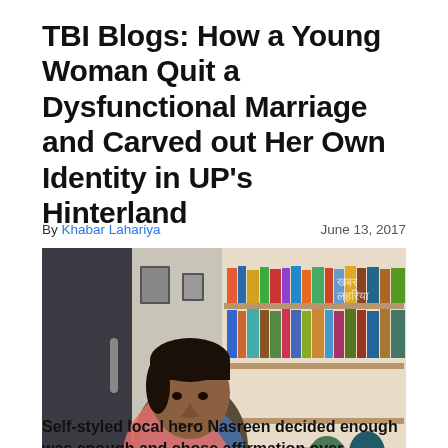TBI Blogs: How a Young Woman Quit a Dysfunctional Marriage and Carved out Her Own Identity in UP's Hinterland
By Khabar Lahariya   June 13, 2017
[Figure (photo): A woman wearing a blue top and pink dupatta/scarf, seated indoors in front of a bookshelf filled with colorful books and a dark wooden desk/table.]
Self-styled local hero Nasreen decided enough was enough and chose affirmation over